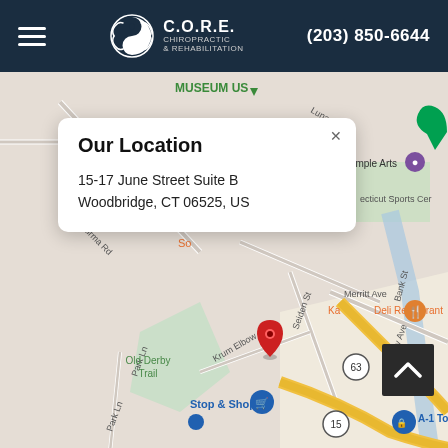C.O.R.E. Chiropractic & Rehabilitation | (203) 850-6644
[Figure (map): Google Maps view showing Woodbridge, CT area with streets including Burma Rd, Park Ln, Krum Elbow, Seiden St, Merritt Ave, Whalley Ave. Shows Old Derby Trail park area, landmarks: Air Temple Arts, Connecticut Sports Center, Stop & Shop, A-1 Toyota, Katz Deli Restaurant. Red location pin dropped near Seiden St intersection. Yellow highway routes visible.]
Our Location
15-17 June Street Suite B
Woodbridge, CT 06525, US